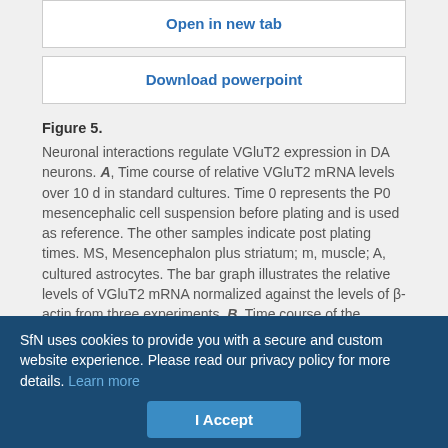Open in new tab
Download powerpoint
Figure 5. Neuronal interactions regulate VGluT2 expression in DA neurons. A, Time course of relative VGluT2 mRNA levels over 10 d in standard cultures. Time 0 represents the P0 mesencephalic cell suspension before plating and is used as reference. The other samples indicate post plating times. MS, Mesencephalon plus striatum; m, muscle; A, cultured astrocytes. The bar graph illustrates the relative levels of VGluT2 mRNA normalized against the levels of β-actin from three experiments. B, Time course of the proportion of isolated DA neurons growing in microculture expressing VGluT2 protein measured by immunofluorescence. C, Effect of neuronal interactions on the expression of VGluT2 mRNA in cultured DA neurons. Single-cell RT-PCR
SfN uses cookies to provide you with a secure and custom website experience. Please read our privacy policy for more details. Learn more
I Accept